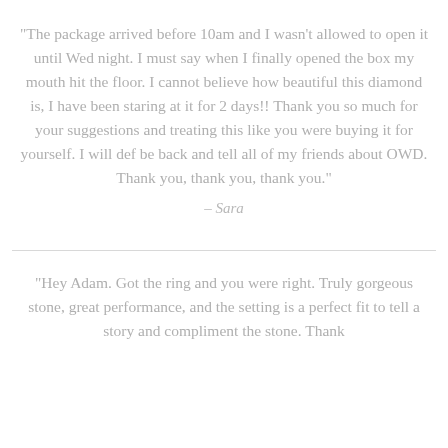"The package arrived before 10am and I wasn't allowed to open it until Wed night. I must say when I finally opened the box my mouth hit the floor. I cannot believe how beautiful this diamond is, I have been staring at it for 2 days!! Thank you so much for your suggestions and treating this like you were buying it for yourself. I will def be back and tell all of my friends about OWD. Thank you, thank you, thank you."
– Sara
"Hey Adam. Got the ring and you were right. Truly gorgeous stone, great performance, and the setting is a perfect fit to tell a story and compliment the stone. Thank